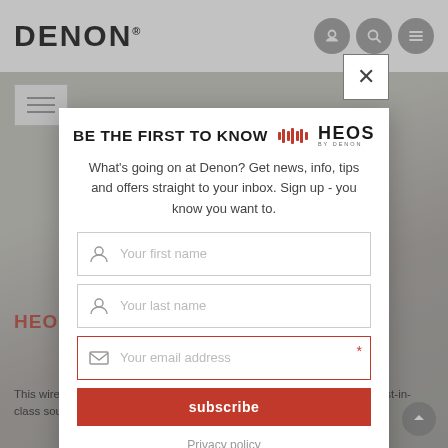[Figure (screenshot): Denon website screenshot showing the HEOS Subwoofer product page with a newsletter signup modal overlay. The background shows the Denon logo navigation bar, a hamburger menu, and partial product description text. The modal contains 'BE THE FIRST TO KNOW' header with HEOS logo, descriptive text, form fields for first name, last name, email address, a subscribe button, and Privacy policy link. A close button (X) appears at the top right of the modal.]